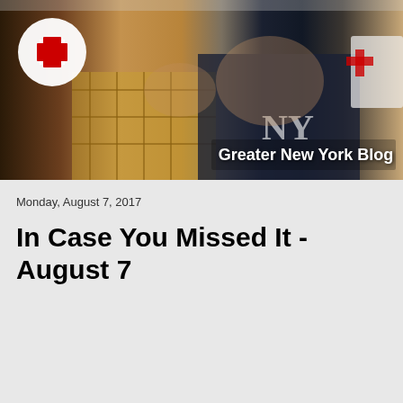[Figure (photo): Red Cross Greater New York Blog banner. Shows a man in a NY Yankees jersey sleeping on a cot with a child. Red Cross logo (white circle with red cross) in upper-left. Text 'Greater New York Blog' in white bold in lower-right.]
Monday, August 7, 2017
In Case You Missed It - August 7